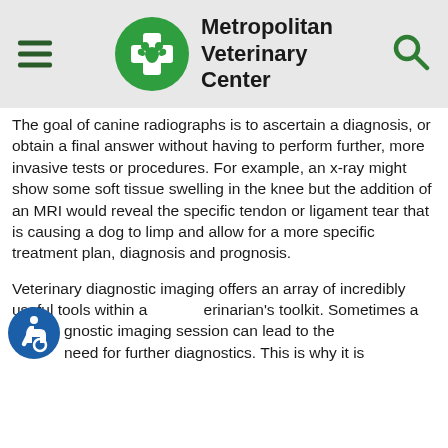Metropolitan Veterinary Center
The goal of canine radiographs is to ascertain a diagnosis, or obtain a final answer without having to perform further, more invasive tests or procedures. For example, an x-ray might show some soft tissue swelling in the knee but the addition of an MRI would reveal the specific tendon or ligament tear that is causing a dog to limp and allow for a more specific treatment plan, diagnosis and prognosis.
Veterinary diagnostic imaging offers an array of incredibly useful tools within a veterinarian's toolkit. Sometimes a diagnostic imaging session can lead to the need for further diagnostics. This is why it is